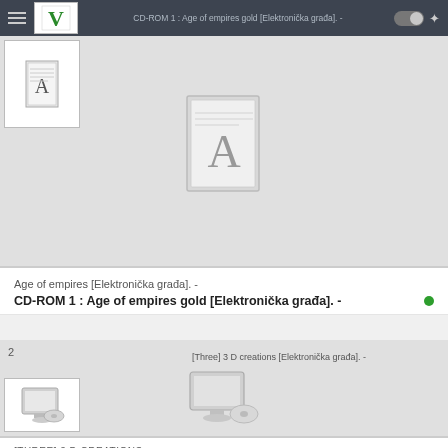CD-ROM 1 : Age of empires gold [Elektronička građa]. -
[Figure (screenshot): Library catalog result card 1 with book/font icon thumbnail and large font icon in center, number 1 label]
Age of empires [Elektronička građa]. -
CD-ROM 1 : Age of empires gold [Elektronička građa]. -
[Figure (screenshot): Library catalog result card 2 with computer/CD icon thumbnail, number 2 label, center computer icon]
[Three] 3 D creations [Elektronička građa]. -
[THREE] 3 D CREATIONS
[Three] 3 D creations [Elektronička građa]. -
[s.l.] Disney Interactive, 2001. -